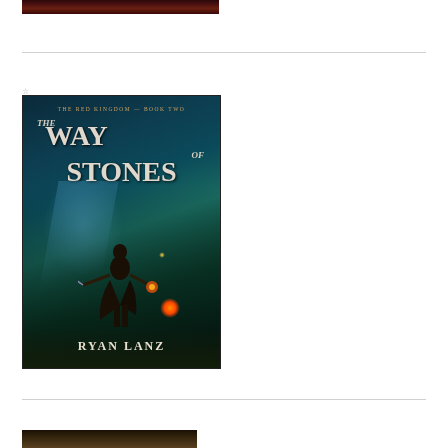[Figure (photo): Top portion of a dark fantasy book cover image, cropped at top of page]
[Figure (illustration): Book cover for 'The Way of Stones' by Ryan Lanz, Book Two of The Red Kingdom series. Shows a figure holding a sword and a glowing orb in a dark fantasy forest setting with teal/blue atmospheric lighting.]
[Figure (photo): Bottom portion of another book cover image, partially visible at bottom of page]